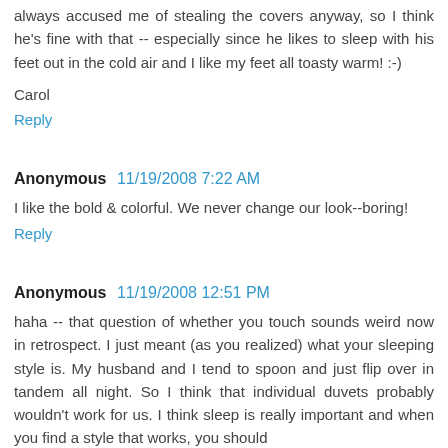always accused me of stealing the covers anyway, so I think he's fine with that -- especially since he likes to sleep with his feet out in the cold air and I like my feet all toasty warm! :-)
Carol
Reply
Anonymous  11/19/2008 7:22 AM
I like the bold & colorful. We never change our look--boring!
Reply
Anonymous  11/19/2008 12:51 PM
haha -- that question of whether you touch sounds weird now in retrospect. I just meant (as you realized) what your sleeping style is. My husband and I tend to spoon and just flip over in tandem all night. So I think that individual duvets probably wouldn't work for us. I think sleep is really important and when you find a style that works, you should